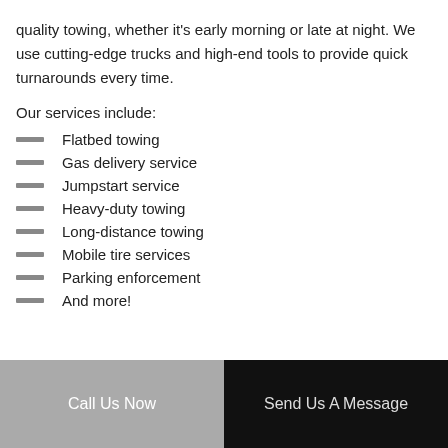quality towing, whether it's early morning or late at night. We use cutting-edge trucks and high-end tools to provide quick turnarounds every time.
Our services include:
Flatbed towing
Gas delivery service
Jumpstart service
Heavy-duty towing
Long-distance towing
Mobile tire services
Parking enforcement
And more!
Call Us Now | Send Us A Message